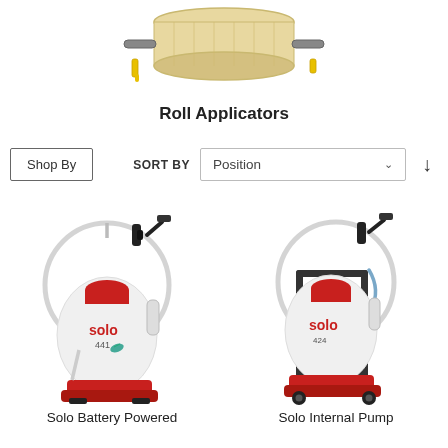[Figure (photo): Partial top view of a roll applicator product image, cropped at top]
Roll Applicators
Shop By
SORT BY   Position
[Figure (photo): Solo 441 battery powered backpack sprayer with red base and white tank, circular hose, black nozzle]
[Figure (photo): Solo 424 internal pump backpack sprayer with red base and white tank, circular hose, black nozzle, mounted on frame]
Solo Battery Powered
Solo Internal Pump